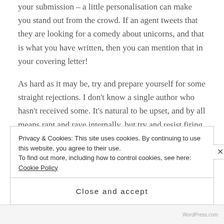your submission – a little personalisation can make you stand out from the crowd. If an agent tweets that they are looking for a comedy about unicorns, and that is what you have written, then you can mention that in your covering letter!
As hard as it may be, try and prepare yourself for some straight rejections. I don't know a single author who hasn't received some. It's natural to be upset, and by all means rant and rave internally, but try and resist firing off an email to
Privacy & Cookies: This site uses cookies. By continuing to use this website, you agree to their use.
To find out more, including how to control cookies, see here: Cookie Policy
Close and accept